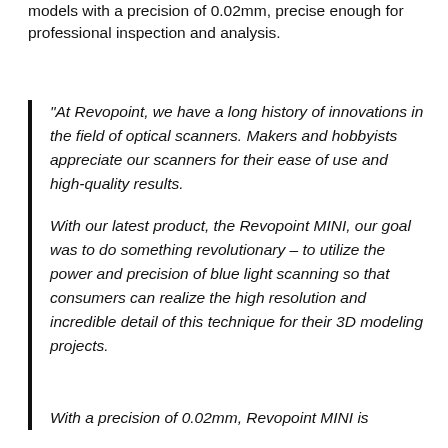models with a precision of 0.02mm, precise enough for professional inspection and analysis.
“At Revopoint, we have a long history of innovations in the field of optical scanners. Makers and hobbyists appreciate our scanners for their ease of use and high-quality results.

With our latest product, the Revopoint MINI, our goal was to do something revolutionary – to utilize the power and precision of blue light scanning so that consumers can realize the high resolution and incredible detail of this technique for their 3D modeling projects.

With a precision of 0.02mm, Revopoint MINI is